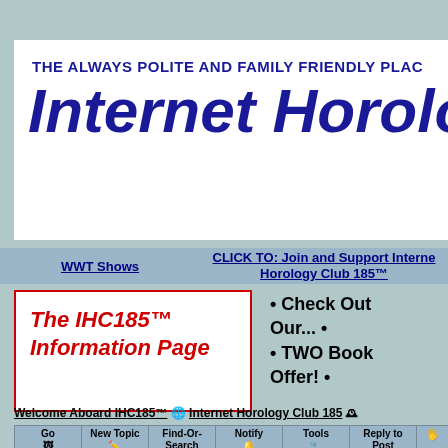THE ALWAYS POLITE AND FAMILY FRIENDLY PLAC
Internet Horolo
WWT Shows
CLICK TO: Join and Support Internet Horology Club 185™
[Figure (other): The IHC185™ Information Page box with red italic text on white background with red border]
• Check Out Our... • • TWO Book Offer! •
Welcome Aboard IHC185™ 🌐 Internet Horology Club 185 🕰 IHC185™ Discussion Site Main Page 🏠 Open to the World RESEARCH FORUMS 🏠 South-Bend Watch Company Research Forum 🕰 16s grade 299
| Go | New Topic | Find-Or-Search | Notify | Tools | Reply to Post |
| --- | --- | --- | --- | --- | --- |
|  |  |  |  |  |  |